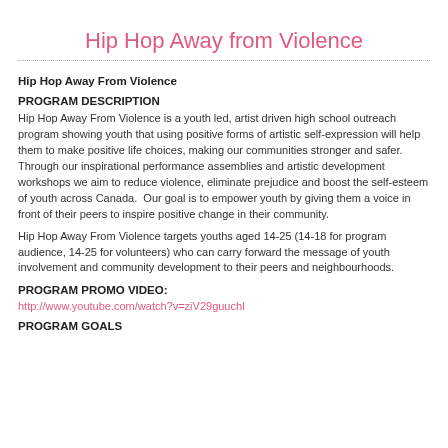Hip Hop Away from Violence
Hip Hop Away From Violence
PROGRAM DESCRIPTION
Hip Hop Away From Violence is a youth led, artist driven high school outreach program showing youth that using positive forms of artistic self-expression will help them to make positive life choices, making our communities stronger and safer.  Through our inspirational performance assemblies and artistic development workshops we aim to reduce violence, eliminate prejudice and boost the self-esteem of youth across Canada.  Our goal is to empower youth by giving them a voice in front of their peers to inspire positive change in their community.
Hip Hop Away From Violence targets youths aged 14-25 (14-18 for program audience, 14-25 for volunteers) who can carry forward the message of youth involvement and community development to their peers and neighbourhoods.
PROGRAM PROMO VIDEO:
http://www.youtube.com/watch?v=ziV29guuchI
PROGRAM GOALS